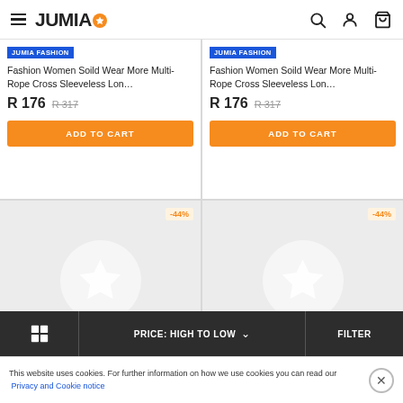JUMIA
[Figure (screenshot): Product card 1: JUMIA FASHION badge, Fashion Women Soild Wear More Multi-Rope Cross Sleeveless Lon..., R 176, R 317 strikethrough, ADD TO CART button]
[Figure (screenshot): Product card 2: JUMIA FASHION badge, Fashion Women Soild Wear More Multi-Rope Cross Sleeveless Lon..., R 176, R 317 strikethrough, ADD TO CART button]
[Figure (screenshot): Product card 3: -44% badge, placeholder star image]
[Figure (screenshot): Product card 4: -44% badge, placeholder star image]
PRICE: HIGH TO LOW
FILTER
This website uses cookies. For further information on how we use cookies you can read our Privacy and Cookie notice